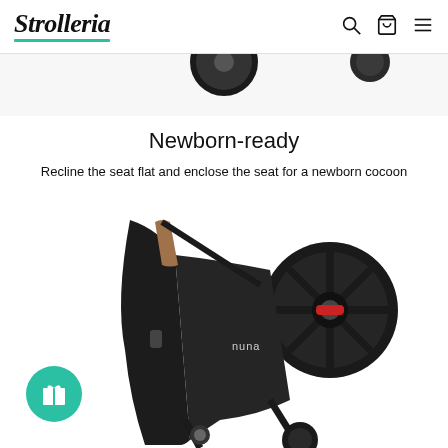Strolleria
[Figure (photo): Partial top view of a black stroller, cropped at the top of the page]
Newborn-ready
Recline the seat flat and enclose the seat for a newborn cocoon
[Figure (photo): A black Nuna stroller folded compactly, showing tan handle, large rear wheel with red accent, and Nuna logo on the frame]
[Figure (other): Teal circular gift/rewards badge icon in the bottom left corner]